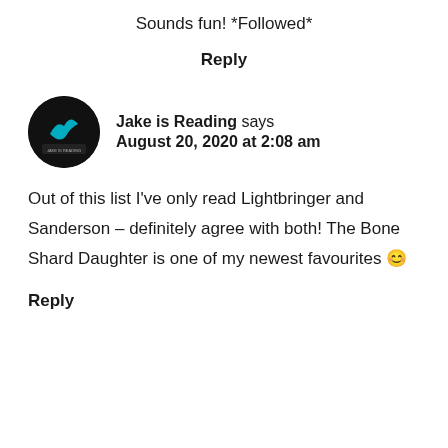Sounds fun! *Followed*
Reply
Jake is Reading says August 20, 2020 at 2:08 am
Out of this list I've only read Lightbringer and Sanderson – definitely agree with both! The Bone Shard Daughter is one of my newest favourites 😊
Reply